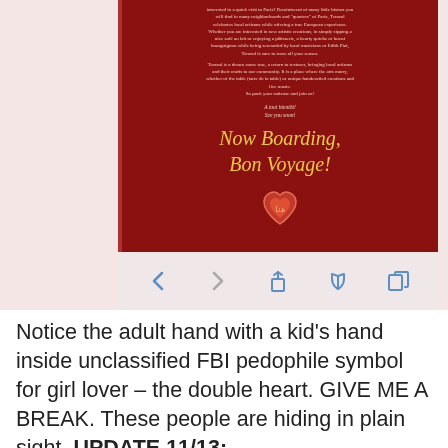[Figure (screenshot): Screenshot of a mobile app viewer showing a dark red document page with text about Terasol and Paris neighborhoods, cursive text 'Now Boarding, Bon Voyage!' in gold, and a heart logo at the bottom. Below the document is a mobile navigation toolbar with back, forward, share, book, and copy icons.]
Notice the adult hand with a kid's hand inside unclassified FBI pedophile symbol for girl lover – the double heart. GIVE ME A BREAK. These people are hiding in plain sight. UPDATE 11/13: